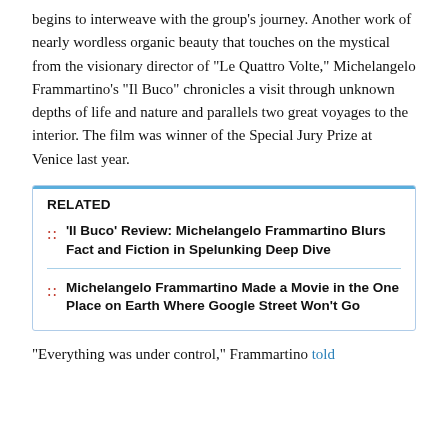begins to interweave with the group's journey. Another work of nearly wordless organic beauty that touches on the mystical from the visionary director of "Le Quattro Volte," Michelangelo Frammartino's "Il Buco" chronicles a visit through unknown depths of life and nature and parallels two great voyages to the interior. The film was winner of the Special Jury Prize at Venice last year.
RELATED
'Il Buco' Review: Michelangelo Frammartino Blurs Fact and Fiction in Spelunking Deep Dive
Michelangelo Frammartino Made a Movie in the One Place on Earth Where Google Street Won't Go
"Everything was under control," Frammartino told